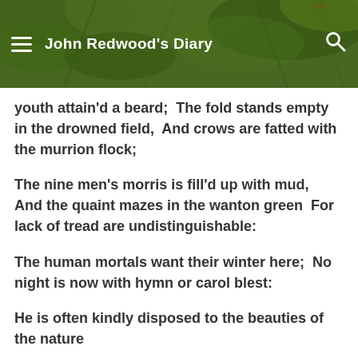John Redwood's Diary
youth attain'd a beard;  The fold stands empty in the drowned field,  And crows are fatted with the murrion flock;
The nine men's morris is fill'd up with mud,  And the quaint mazes in the wanton green  For lack of tread are undistinguishable:
The human mortals want their winter here;  No night is now with hymn or carol blest:
He is often kindly disposed to the beauties of the nature